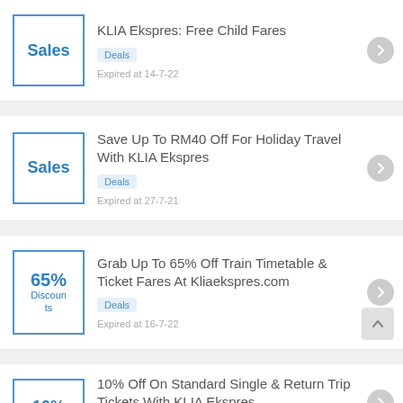[Figure (infographic): Deal card: KLIA Ekspres Free Child Fares - Sales badge, Deals tag, Expired at 14-7-22]
[Figure (infographic): Deal card: Save Up To RM40 Off For Holiday Travel With KLIA Ekspres - Sales badge, Deals tag, Expired at 27-7-21]
[Figure (infographic): Deal card: Grab Up To 65% Off Train Timetable & Ticket Fares At Kliaekspres.com - 65% Discounts badge, Deals tag, Expired at 16-7-22]
[Figure (infographic): Partial deal card: 10% Off On Standard Single & Return Trip Tickets With KLIA Ekspres - 10% badge (partial)]